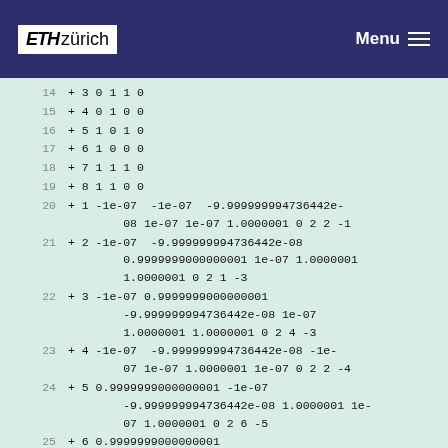ETH zürich | Menu
14  + 3 0 1 1 0
15  + 4 0 1 0 0
16  + 5 1 0 1 0
17  + 6 1 0 0 0
18  + 7 1 1 1 0
19  + 8 1 1 0 0
20  + 1 -1e-07 -1e-07 -9.999999994736442e-08 1e-07 1e-07 1.0000001 0 2 2 -1
21  + 2 -1e-07 -9.999999994736442e-08 0.9999999000000001 1e-07 1.0000001 1.0000001 0 2 1 -3
22  + 3 -1e-07 0.9999999000000001 -9.999999994736442e-08 1e-07 1.0000001 1.0000001 0 2 4 -3
23  + 4 -1e-07 -9.999999994736442e-08 -1e-07 1e-07 1.0000001 1e-07 0 2 2 -4
24  + 5 0.9999999000000001 -1e-07 -9.999999994736442e-08 1.0000001 1e-07 1.0000001 0 2 6 -5
25  + 6 0.9999999000000001